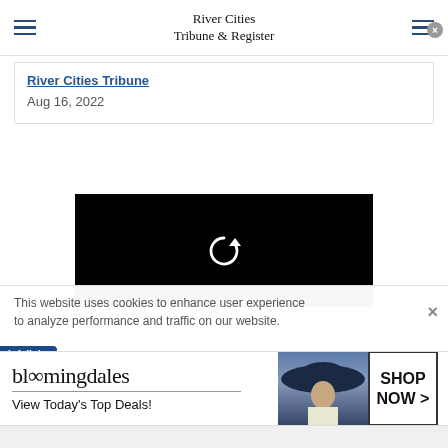River Cities Tribune & Register
River Cities Tribune
Aug 16, 2022
[Figure (other): Black video player area with a replay/restart icon (circular arrow) in white in the center]
This website uses cookies to enhance user experience to analyze performance and traffic on our website.
[Figure (other): Bloomingdales advertisement banner: logo text 'bloomingdales', tagline 'View Today's Top Deals!', model in wide-brim hat, SHOP NOW > button]
infolinks